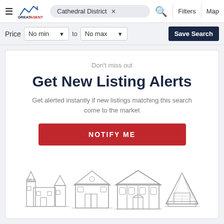≡ GREATAGENT | Cathedral District × | 🔍 | Filters | Map
Price | No min ▼ | to | No max ▼ | Save Search
Don't miss out
Get New Listing Alerts
Get alerted instantly if new listings matching this search come to the market
NOTIFY ME
[Figure (illustration): Four illustrated house icons in grayscale: a castle-style house, a barn-style house, a large two-story house, and a modern A-frame house]